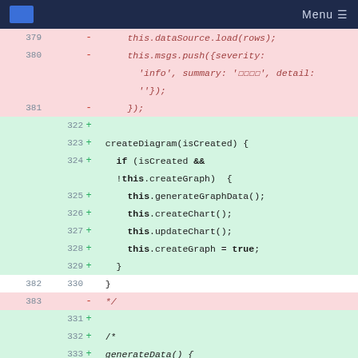Menu
[Figure (screenshot): Code diff view showing removed lines 379-383 (pink background) and added lines 322-334 (green background) with line numbers, plus/minus indicators, and monospace code content.]